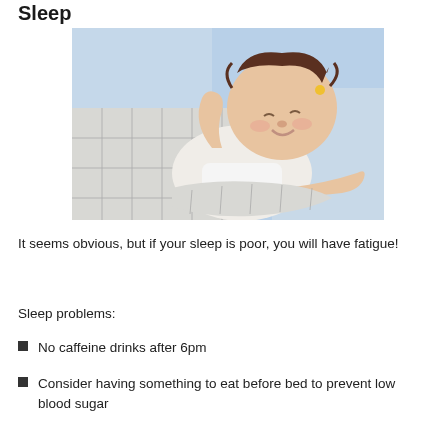Sleep
[Figure (photo): A smiling baby sleeping peacefully on a light blue pillow with a white outfit and checkered blanket partially covering them.]
It seems obvious, but if your sleep is poor, you will have fatigue!
Sleep problems:
No caffeine drinks after 6pm
Consider having something to eat before bed to prevent low blood sugar